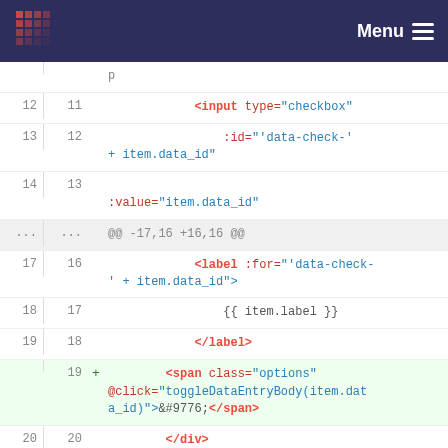[Figure (screenshot): Navigation bar with logo grid and Menu hamburger button on dark navy background]
Code diff showing HTML template changes with line numbers, added/removed lines for span with toggle options and div with data-id attribute
Menu